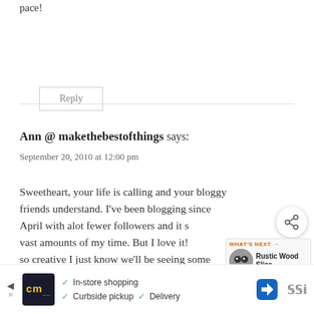pace!
Reply
Ann @ makethebestofthings says:
September 20, 2010 at 12:00 pm
Sweetheart, your life is calling and your bloggy friends understand. I've been blogging since April with alot fewer followers and it still takes vast amounts of my time. But I love it! You are so creative I just know we'll be seeing some w...
[Figure (screenshot): Share button overlay and 'What's Next' thumbnail panel for Rustic Wood Slice...]
[Figure (screenshot): Advertisement bar: cm (Curbside Manager) logo, In-store shopping, Curbside pickup, Delivery options, navigation arrow icon]